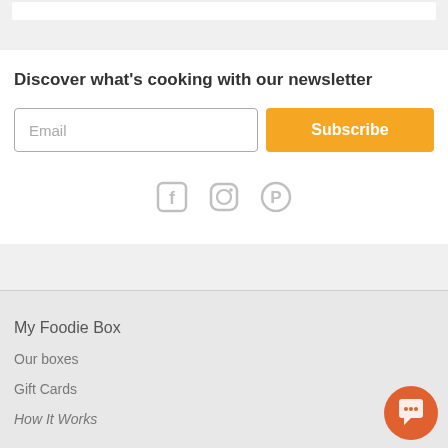Discover what's cooking with our newsletter
Email
Subscribe
[Figure (other): Social media icons: Facebook, Instagram, Pinterest in grey]
My Foodie Box
Our boxes
Gift Cards
How It Works
[Figure (other): Orange circular chat/support button in bottom right corner]